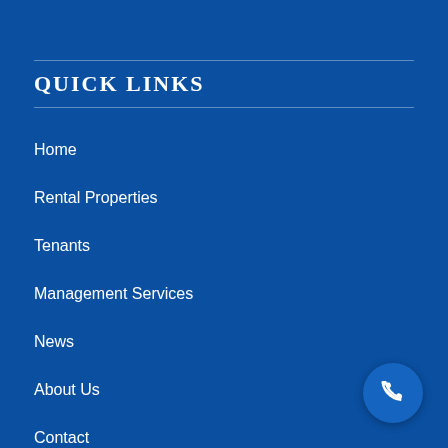QUICK LINKS
Home
Rental Properties
Tenants
Management Services
News
About Us
Contact
Our Privacy Policy
[Figure (illustration): White phone/call icon inside a circular blue button in the bottom-right corner]